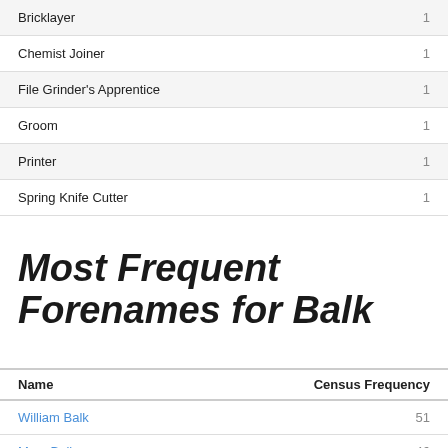|  |  |
| --- | --- |
| Bricklayer | 1 |
| Chemist Joiner | 1 |
| File Grinder's Apprentice | 1 |
| Groom | 1 |
| Printer | 1 |
| Spring Knife Cutter | 1 |
Most Frequent Forenames for Balk
| Name | Census Frequency |
| --- | --- |
| William Balk | 51 |
| Mary Balk | 46 |